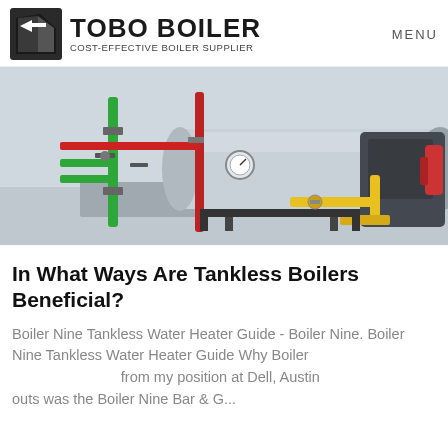TOBO BOILER | COST-EFFECTIVE BOILER SUPPLIER | MENU
[Figure (photo): Industrial boiler installation showing a large cylindrical tank with colored pipes (green, red, yellow), valves, gauges, and associated equipment in an industrial room.]
In What Ways Are Tankless Boilers Beneficial?
Boiler Nine Tankless Water Heater Guide - Boiler Nine. Boiler Nine Tankless Water Heater Guide Why Boiler from my position at Dell, Austin outs was the Boiler Nine Bar & G...